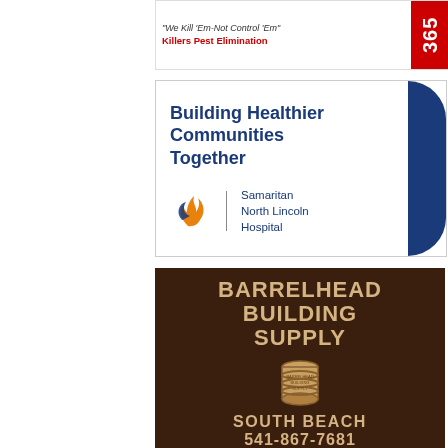[Figure (logo): Killers Pest Elimination advertisement with tagline 'We Kill Em-Not Control Em' and a 365 badge in red]
[Figure (logo): Samaritan North Lincoln Hospital advertisement with tagline 'Building Healthier Communities Together' and hospital logo with flame/heart icon]
[Figure (logo): Barrelhead Building Supply advertisement in dark brown with gold text, barrel icon, South Beach location and phone number 541-867-7681, with warehouse photo at bottom]